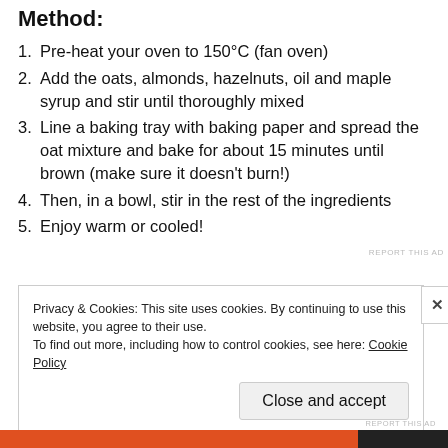Method:
Pre-heat your oven to 150°C (fan oven)
Add the oats, almonds, hazelnuts, oil and maple syrup and stir until thoroughly mixed
Line a baking tray with baking paper and spread the oat mixture and bake for about 15 minutes until brown (make sure it doesn't burn!)
Then, in a bowl, stir in the rest of the ingredients
Enjoy warm or cooled!
REPORT THIS AD
Privacy & Cookies: This site uses cookies. By continuing to use this website, you agree to their use.
To find out more, including how to control cookies, see here: Cookie Policy
Close and accept